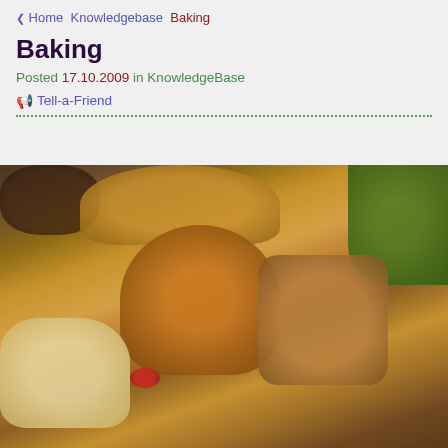❮ Home  Knowledgebase  Baking
Baking
Posted 17.10.2009 in KnowledgeBase
📢 Tell-a-Friend
[Figure (photo): A spread of various baked goods including muffins, bread loaves, a large round golden cake or bread in the center, sliced fruit bread, and a pineapple in the top right corner.]